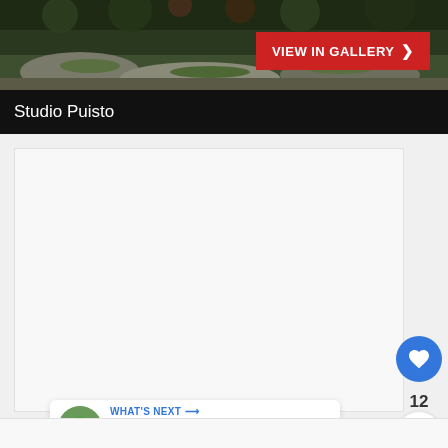[Figure (photo): Outdoor nature scene with rocks, foliage, and forest background in dark greens and browns]
VIEW IN GALLERY ›
Studio Puisto
[Figure (other): Large white/light gray empty image placeholder area]
12
[Figure (infographic): WHAT'S NEXT arrow label with thumbnail image and text '10 Charming Ways To Ad...']